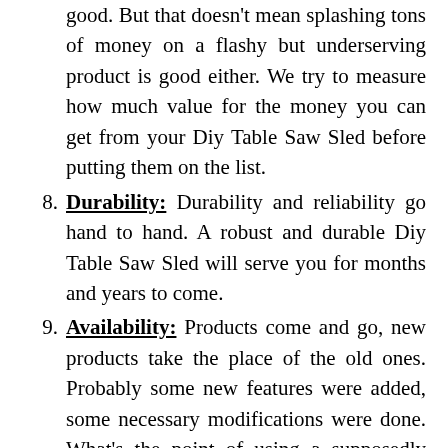good. But that doesn't mean splashing tons of money on a flashy but underserving product is good either. We try to measure how much value for the money you can get from your Diy Table Saw Sled before putting them on the list.
8. Durability: Durability and reliability go hand to hand. A robust and durable Diy Table Saw Sled will serve you for months and years to come.
9. Availability: Products come and go, new products take the place of the old ones. Probably some new features were added, some necessary modifications were done. What's the point of using a supposedly good Diy Table Saw Sled if that's no longer continued by the manufacturer? We try to feature products that are up-to-date and sold by